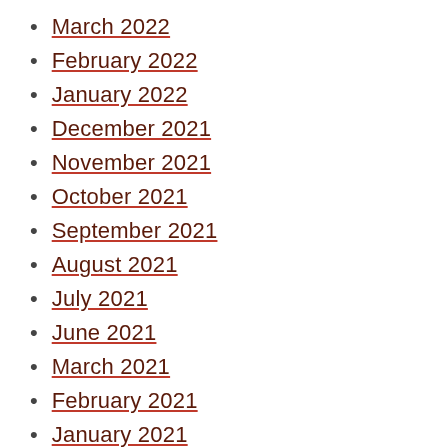March 2022
February 2022
January 2022
December 2021
November 2021
October 2021
September 2021
August 2021
July 2021
June 2021
March 2021
February 2021
January 2021
December 2020
November 2020